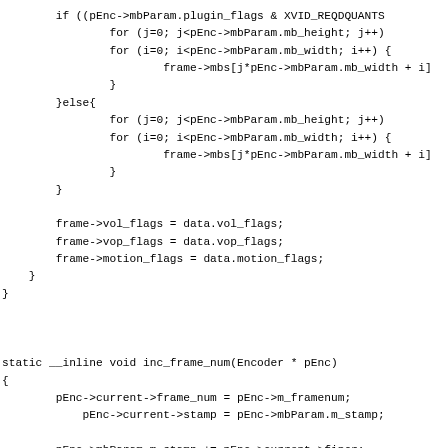Code fragment showing conditional quantization loop, vol/vop/motion flags assignment, and inc_frame_num function definition with frame_num, stamp, m_stamp, m_framenum updates.